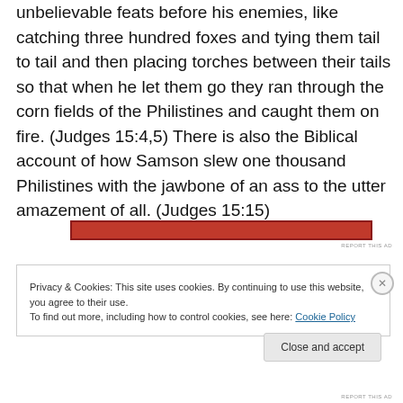unbelievable feats before his enemies, like catching three hundred foxes and tying them tail to tail and then placing torches between their tails so that when he let them go they ran through the corn fields of the Philistines and caught them on fire. (Judges 15:4,5) There is also the Biblical account of how Samson slew one thousand Philistines with the jawbone of an ass to the utter amazement of all. (Judges 15:15)
[Figure (other): Red advertisement banner]
REPORT THIS AD
Privacy & Cookies: This site uses cookies. By continuing to use this website, you agree to their use.
To find out more, including how to control cookies, see here: Cookie Policy
Close and accept
REPORT THIS AD